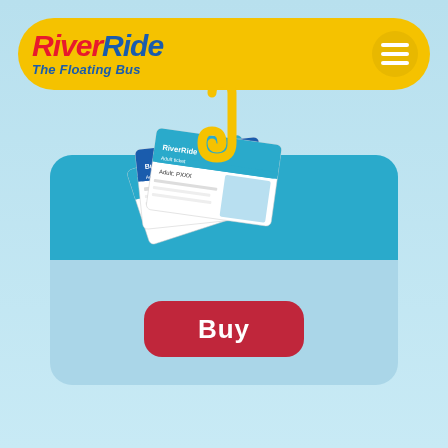RiverRide The Floating Bus
[Figure (logo): RiverRide The Floating Bus logo on yellow rounded header bar with hamburger menu icon]
[Figure (illustration): Ticket card UI element with teal top section showing multiple bus/boat tickets fanned out with a yellow hook/clip, and a red Buy button on light blue card]
Buy